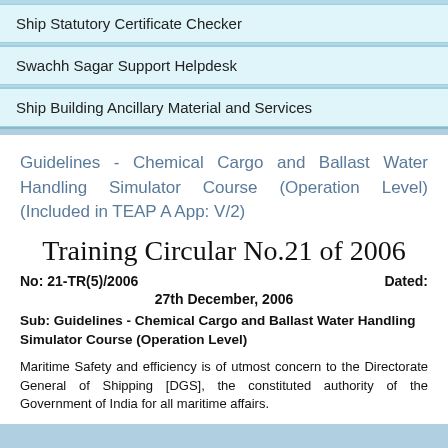Ship Statutory Certificate Checker
Swachh Sagar Support Helpdesk
Ship Building Ancillary Material and Services
Guidelines - Chemical Cargo and Ballast Water Handling Simulator Course (Operation Level) (Included in TEAP A App: V/2)
Training Circular No.21 of 2006
No: 21-TR(5)/2006	Dated:
27th December, 2006
Sub: Guidelines - Chemical Cargo and Ballast Water Handling Simulator Course (Operation Level)
Maritime Safety and efficiency is of utmost concern to the Directorate General of Shipping [DGS], the constituted authority of the Government of India for all maritime affairs.